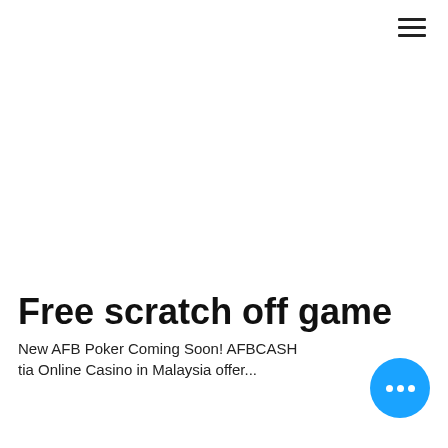[Figure (other): Hamburger menu icon (three horizontal lines) in top-right corner]
Free scratch off game
New AFB Poker Coming Soon! AFBCASH tia Online Casino in Malaysia offer...